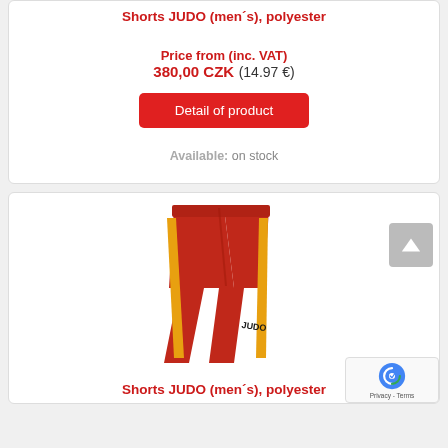Shorts JUDO (men´s), polyester
Price from (inc. VAT) 380,00 CZK (14.97 €)
Detail of product
Available: on stock
[Figure (photo): Red polyester judo shorts with yellow stripe on the side and JUDO text on the leg]
Shorts JUDO (men´s), polyester